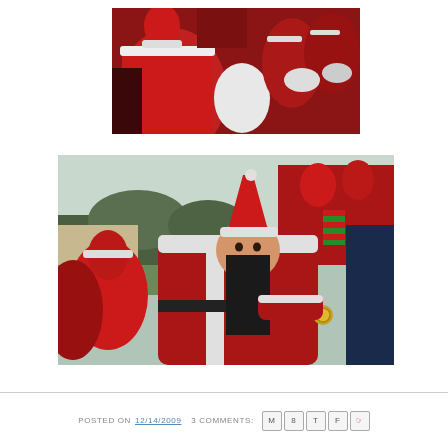[Figure (photo): A crowd of people wearing Santa Claus costumes (red suits and hats with white trim), photographed close-up from above. The image is predominantly red from the Santa outfits.]
[Figure (photo): A smiling woman in a Santa Claus costume holding a medal, standing in a park surrounded by many other people dressed as Santa Claus. Trees and a building visible in the background.]
POSTED ON 12/14/2009  3 COMMENTS: